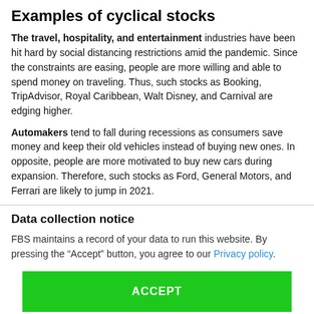Examples of cyclical stocks
The travel, hospitality, and entertainment industries have been hit hard by social distancing restrictions amid the pandemic. Since the constraints are easing, people are more willing and able to spend money on traveling. Thus, such stocks as Booking, TripAdvisor, Royal Caribbean, Walt Disney, and Carnival are edging higher.
Automakers tend to fall during recessions as consumers save money and keep their old vehicles instead of buying new ones. In opposite, people are more motivated to buy new cars during expansion. Therefore, such stocks as Ford, General Motors, and Ferrari are likely to jump in 2021.
Data collection notice
FBS maintains a record of your data to run this website. By pressing the “Accept” button, you agree to our Privacy policy.
ACCEPT